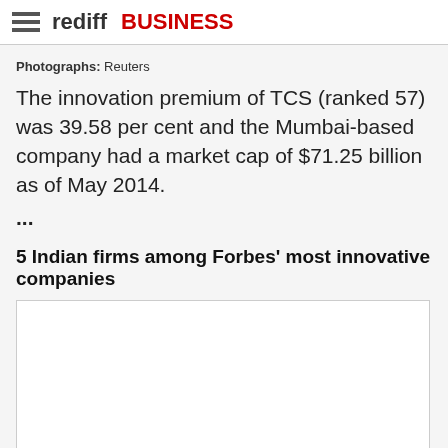rediff BUSINESS
Photographs: Reuters
The innovation premium of TCS (ranked 57) was 39.58 per cent and the Mumbai-based company had a market cap of $71.25 billion as of May 2014.
...
5 Indian firms among Forbes' most innovative companies
[Figure (photo): Image placeholder - white box with border]